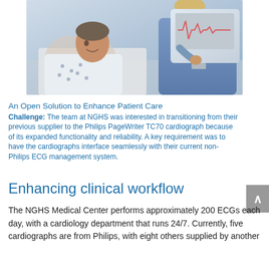[Figure (photo): Hospital patient in a gown lying in bed smiling at a nurse in blue scrubs who is standing next to a medical monitor/ECG machine]
An Open Solution to Enhance Patient Care
Challenge: The team at NGHS was interested in transitioning from their previous supplier to the Philips PageWriter TC70 cardiograph because of its expanded functionality and reliability. A key requirement was to have the cardiographs interface seamlessly with their current non-Philips ECG management system.
Enhancing clinical workflow
The NGHS Medical Center performs approximately 200 ECGs each day, with a cardiology department that runs 24/7. Currently, five cardiographs are from Philips, with eight others supplied by another